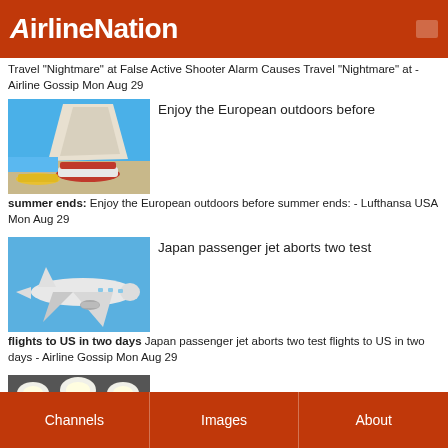AirlineNation
Travel "Nightmare" at False Active Shooter Alarm Causes Travel "Nightmare" at - Airline Gossip Mon Aug 29
[Figure (photo): Colorful wooden boats on a rocky beach with a large rock formation and blue sky in background]
Enjoy the European outdoors before summer ends: Enjoy the European outdoors before summer ends: - Lufthansa USA Mon Aug 29
[Figure (photo): Commercial passenger airplane flying in blue sky, viewed from below-side angle]
Japan passenger jet aborts two test flights to US in two days Japan passenger jet aborts two test flights to US in two days - Airline Gossip Mon Aug 29
[Figure (photo): Interior of airplane cabin showing overhead lights and seats]
Channels   Images   About